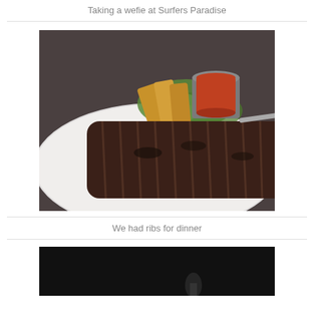Taking a wefie at Surfers Paradise
[Figure (photo): A plate of grilled ribs with wedge fries, green salad leaves and a small metal cup of sauce/dip on a white plate, on a dark table.]
We had ribs for dinner
[Figure (photo): A mostly dark/black photo, partially visible at the bottom of the page.]